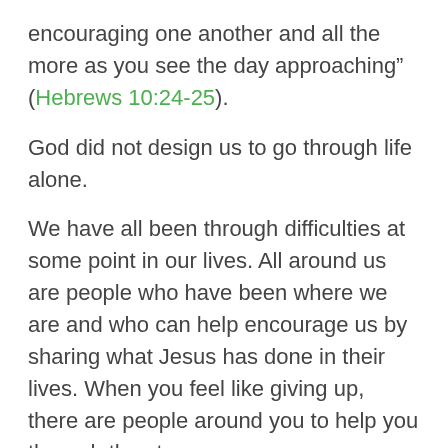encouraging one another and all the more as you see the day approaching” (Hebrews 10:24-25).
God did not design us to go through life alone.
We have all been through difficulties at some point in our lives. All around us are people who have been where we are and who can help encourage us by sharing what Jesus has done in their lives. When you feel like giving up, there are people around you to help you through the storm.